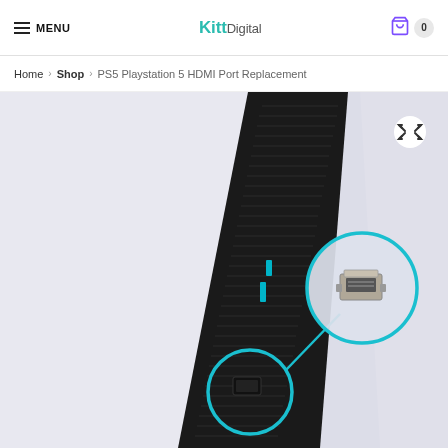MENU | KittDigital | Cart 0
Home > Shop > PS5 Playstation 5 HDMI Port Replacement
[Figure (photo): Product photo of a PS5 PlayStation 5 console showing the HDMI port area on the front panel. The console is black and white in vertical orientation. A teal circle highlights the HDMI port on the console, with a line pointing to a zoomed-in teal circle showing a close-up of the HDMI port component (a small metallic rectangular connector). The background is light gray-white.]